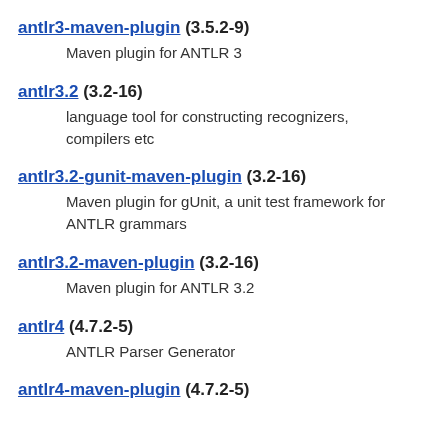antlr3-maven-plugin (3.5.2-9)
    Maven plugin for ANTLR 3
antlr3.2 (3.2-16)
    language tool for constructing recognizers, compilers etc
antlr3.2-gunit-maven-plugin (3.2-16)
    Maven plugin for gUnit, a unit test framework for ANTLR grammars
antlr3.2-maven-plugin (3.2-16)
    Maven plugin for ANTLR 3.2
antlr4 (4.7.2-5)
    ANTLR Parser Generator
antlr4-maven-plugin (4.7.2-5)